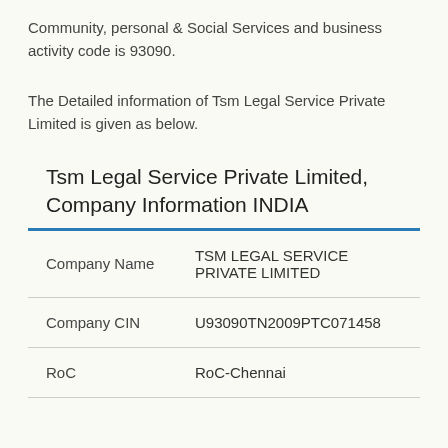Community, personal & Social Services and business activity code is 93090.
The Detailed information of Tsm Legal Service Private Limited is given as below.
Tsm Legal Service Private Limited, Company Information INDIA
| Company Name | TSM LEGAL SERVICE PRIVATE LIMITED |
| Company CIN | U93090TN2009PTC071458 |
| RoC | RoC-Chennai |